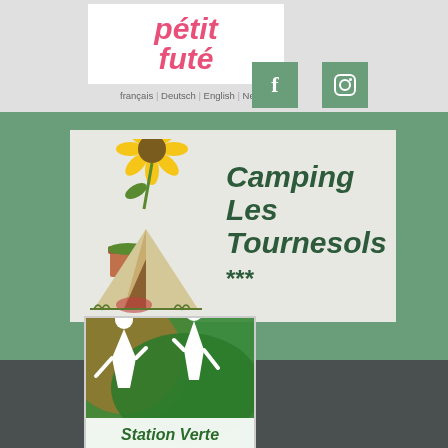[Figure (logo): Petit futé guide logo - pink/red stylized text]
français | Deutsch | English | Nederlands
[Figure (logo): Facebook icon - green square with f]
[Figure (logo): Instagram icon - green square with camera]
[Figure (illustration): Famille Plus watermark logo with circular badge]
[Figure (illustration): Camping Les Tournesols banner with tent and sunflower illustration, dark green text reading Camping Les Tournesols ***]
MENU
[Figure (logo): Station Verte logo - green and orange with two white figures and text Station Verte]